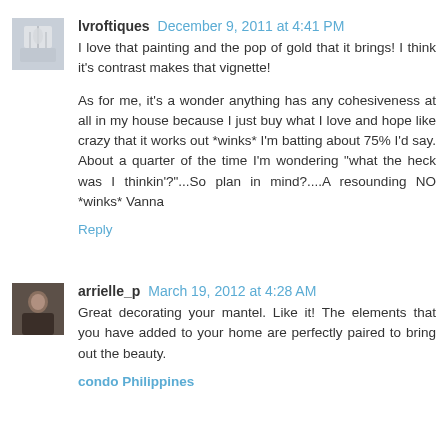lvroftiques December 9, 2011 at 4:41 PM
I love that painting and the pop of gold that it brings! I think it's contrast makes that vignette!

As for me, it's a wonder anything has any cohesiveness at all in my house because I just buy what I love and hope like crazy that it works out *winks* I'm batting about 75% I'd say. About a quarter of the time I'm wondering "what the heck was I thinkin'?"...So plan in mind?....A resounding NO *winks* Vanna
Reply
arrielle_p March 19, 2012 at 4:28 AM
Great decorating your mantel. Like it! The elements that you have added to your home are perfectly paired to bring out the beauty.
condo Philippines